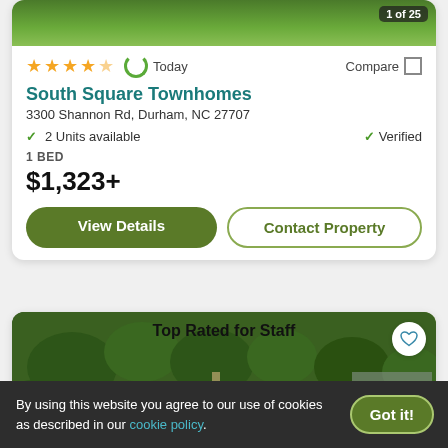[Figure (photo): Green grass aerial thumbnail image with badge showing '1 of 25']
★★★★★ (4.5 stars) | Today | Compare
South Square Townhomes
3300 Shannon Rd, Durham, NC 27707
✓ 2 Units available   ✓ Verified
1 BED
$1,323+
View Details | Contact Property
[Figure (photo): Aerial view of apartment complex with pool and greenery, labeled 'Top Rated for Staff']
By using this website you agree to our use of cookies as described in our cookie policy.
Got it!